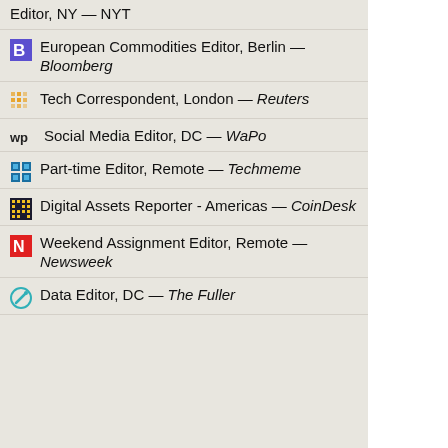Editor, NY — NYT
European Commodities Editor, Berlin — Bloomberg
Tech Correspondent, London — Reuters
Social Media Editor, DC — WaPo
Part-time Editor, Remote — Techmeme
Digital Assets Reporter - Americas — CoinDesk
Weekend Assignment Editor, Remote — Newsweek
Data Editor, DC — The Fuller